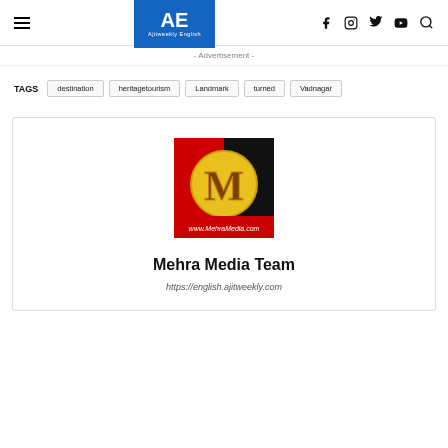AE Ajitweekly English — navigation header with hamburger menu, logo, social icons (f, instagram, twitter, youtube, search)
- Advertisement -
TAGS: destination, heritagetourism, Landmark, turned, Vadnagar
[Figure (logo): Mehra Media logo: red and black background with a golden M letter on a yellow circle, with text www.MehraMedia.com at the bottom]
Mehra Media Team
https://english.ajitweekly.com